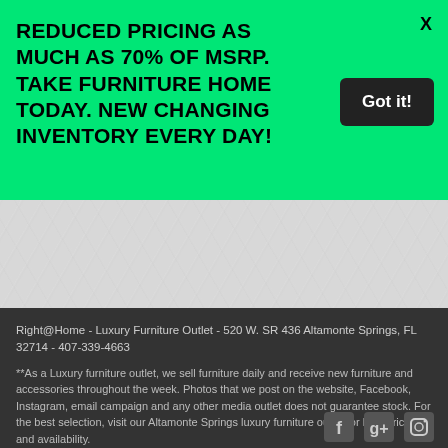REDUCED PRICING AS MUCH AS 70% OF MSRP. TAKE FURNITURE HOME TODAY. NEW CHANGING INVENTORY EVERY DAY!
X
Got it!
[Figure (photo): Textured grey background area]
Right@Home - Luxury Furniture Outlet - 520 W. SR 436 Altamonte Springs, FL 32714 - 407-339-4663
**As a Luxury furniture outlet, we sell furniture daily and receive new furniture and accessories throughout the week. Photos that we post on the website, Facebook, Instagram, email campaign and any other media outlet does not guarantee stock. For the best selection, visit our Altamonte Springs luxury furniture outlet for best pricing and availability.
Designed by Capture Point Media - Orlando, Florida